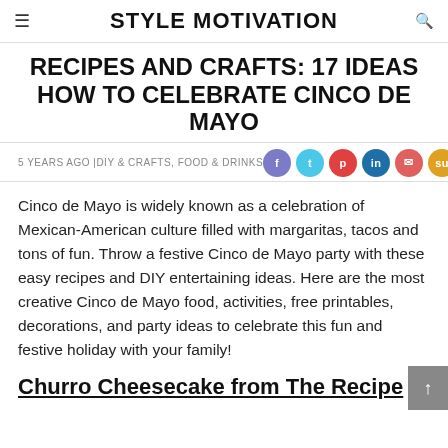STYLE MOTIVATION
RECIPES AND CRAFTS: 17 IDEAS HOW TO CELEBRATE CINCO DE MAYO
5 YEARS AGO |DIY & CRAFTS, FOOD & DRINKS
[Figure (infographic): Seven social sharing buttons: Facebook (purple), Twitter (light blue), Pinterest (red), LinkedIn (dark blue), Email (red-pink), SU (gold/yellow), WhatsApp (green)]
Cinco de Mayo is widely known as a celebration of Mexican-American culture filled with margaritas, tacos and tons of fun. Throw a festive Cinco de Mayo party with these easy recipes and DIY entertaining ideas. Here are the most creative Cinco de Mayo food, activities, free printables, decorations, and party ideas to celebrate this fun and festive holiday with your family!
Churro Cheesecake from The Recipe